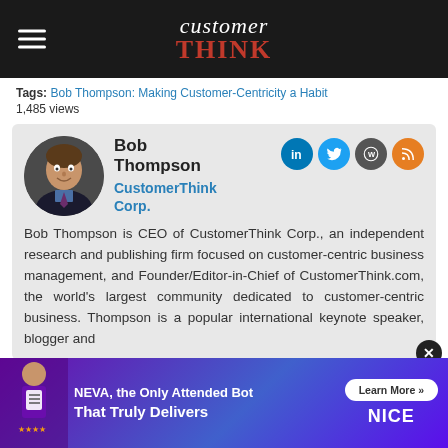customer THINK
Tags: Bob Thompson: Making Customer-Centricity a Habit
1,485 views
[Figure (photo): Author profile card for Bob Thompson with circular headshot photo, name, organization CustomerThink Corp., social media icons (LinkedIn, Twitter, WordPress, RSS), and bio text.]
Bob Thompson is CEO of CustomerThink Corp., an independent research and publishing firm focused on customer-centric business management, and Founder/Editor-in-Chief of CustomerThink.com, the world's largest community dedicated to customer-centric business. Thompson is a popular international keynote speaker, blogger and
[Figure (infographic): Ad banner for NICE NEVA product: 'NEVA, the Only Attended Bot That Truly Delivers' with Learn More button and NICE logo on purple/blue gradient background.]